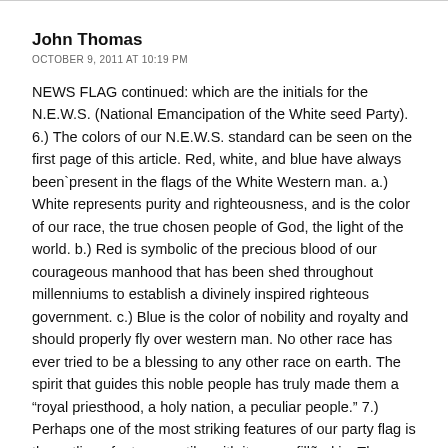John Thomas
OCTOBER 9, 2011 AT 10:19 PM
NEWS FLAG continued: which are the initials for the N.E.W.S. (National Emancipation of the White seed Party). 6.) The colors of our N.E.W.S. standard can be seen on the first page of this article. Red, white, and blue have always been`present in the flags of the White Western man. a.) White represents purity and righteousness, and is the color of our race, the true chosen people of God, the light of the world. b.) Red is symbolic of the precious blood of our courageous manhood that has been shed throughout millenniums to establish a divinely inspired righteous government. c.) Blue is the color of nobility and royalty and should properly fly over western man. No other race has ever tried to be a blessing to any other race on earth. The spirit that guides this noble people has truly made them a “royal priesthood, a holy nation, a peculiar people.” 7.) Perhaps one of the most striking features of our party flag is the outline of a true swastika with its gaps fillñed in. The swastika is an